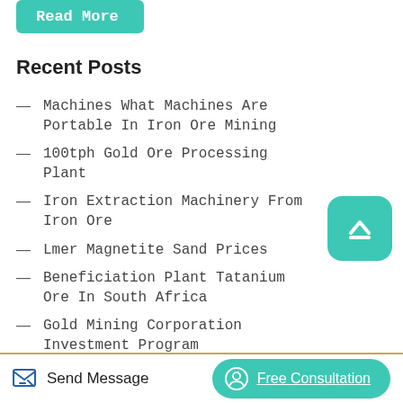Read More
Recent Posts
Machines What Machines Are Portable In Iron Ore Mining
100tph Gold Ore Processing Plant
Iron Extraction Machinery From Iron Ore
Lmer Magnetite Sand Prices
Beneficiation Plant Tatanium Ore In South Africa
Gold Mining Corporation Investment Program
Nickel Ore Ban Indonesia
Send Message
Free Consultation